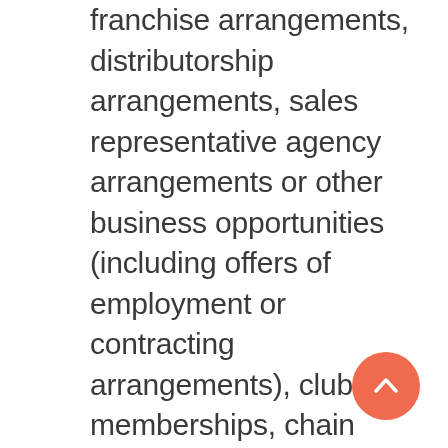franchise arrangements, distributorship arrangements, sales representative agency arrangements or other business opportunities (including offers of employment or contracting arrangements), club memberships, chain letters or letters relating to pyramid schemes, any advertising or promotional materials or any other solicitation of other users to use goods or services except in those areas (e.g., a classified bulletin board) that are designated for such purpose. You agree that any employment or other relationship you form or attempt to form with an employer, employee, or contractor whom you contact